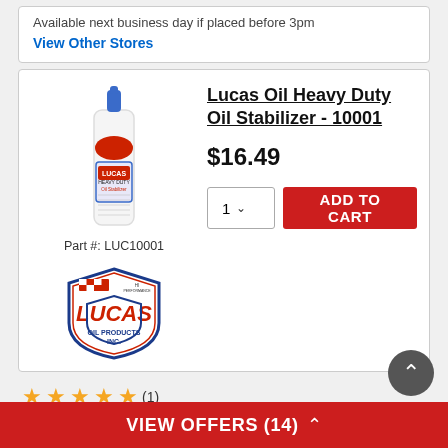Available next business day if placed before 3pm
View Other Stores
[Figure (photo): Lucas Oil Heavy Duty Oil Stabilizer bottle (white bottle with blue tip and red/blue label)]
Part #: LUC10001
[Figure (logo): Lucas Oil Products Inc. shield logo with checkered flag]
Lucas Oil Heavy Duty Oil Stabilizer - 10001
$16.49
1  ADD TO CART
★★★★★ (1)
VIEW OFFERS (14) ∧